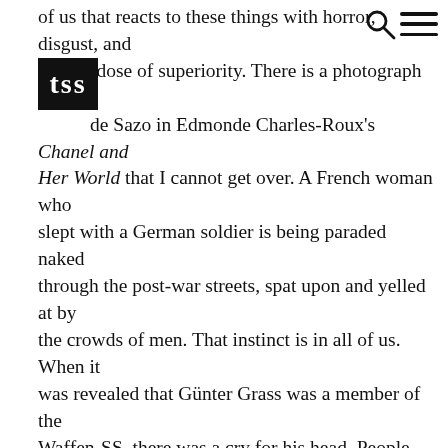of us that reacts to these things with horror, disgust, and a hefty dose of superiority. There is a photograph by Lege de Sazo in Edmonde Charles-Roux's Chanel and Her World that I cannot get over. A French woman who slept with a German soldier is being paraded naked through the post-war streets, spat upon and yelled at by the crowds of men. That instinct is in all of us. When it was revealed that Günter Grass was a member of the Waffen-SS, there was a cry for his head. People declared that The Tin Drum should be removed from reading lists. He had betrayed us by hiding this his entire career. But there were probably reasons why a man with such a secret would be compelled to spend his life seeking out the shadow side of his own country. It's not that context is unimportant when we are judging a person's political or philosophical statements. Grass is still brutally unforgiving about Germany's history. Ten years after the fall of the Berlin Wall, he was still telling The New York Times that reunification was a mistake.